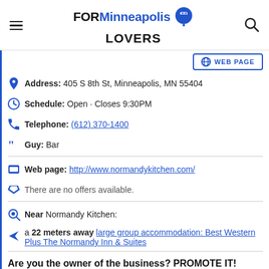FOR Minneapolis LOVERS
WEB PAGE
Address: 405 S 8th St, Minneapolis, MN 55404
Schedule: Open · Closes 9:30PM
Telephone: (612) 370-1400
Guy: Bar
Web page: http://www.normandykitchen.com/
There are no offers available.
Near Normandy Kitchen:
a 22 meters away large group accommodation: Best Western Plus The Normandy Inn & Suites
Are you the owner of the business? PROMOTE IT!